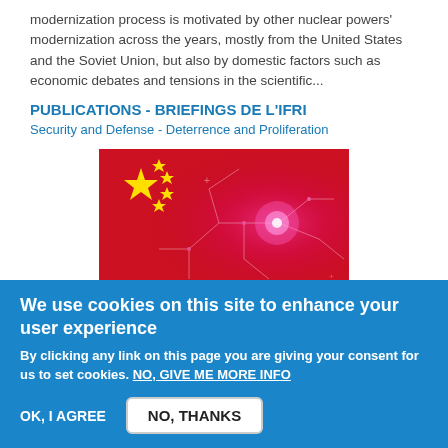modernization process is motivated by other nuclear powers' modernization across the years, mostly from the United States and the Soviet Union, but also by domestic factors such as economic debates and tensions in the scientific...
PUBLICATIONS - BRIEFINGS DE L'IFRI
Security and Defense - Deterrence and Proliferation
[Figure (photo): China flag overlaid with digital circuit board / cyberspace imagery in red and magenta tones]
29/07/2022
Cyberspace Governance in China: Evolution,
We use cookies on this site to enhance your user experience
By clicking any link on this page you are giving your consent for us to set cookies. NO, GIVE ME MORE INFO
OK, I AGREE
NO, THANKS